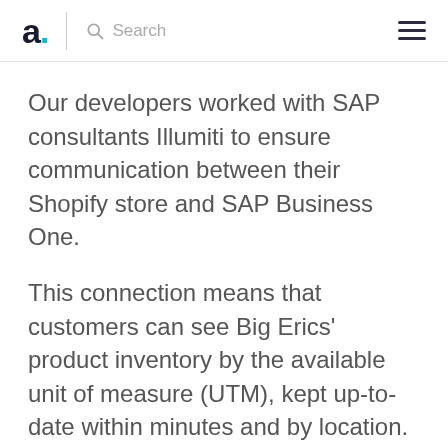a. Search ≡
Our developers worked with SAP consultants Illumiti to ensure communication between their Shopify store and SAP Business One.
This connection means that customers can see Big Erics' product inventory by the available unit of measure (UTM), kept up-to-date within minutes and by location. It also means Big Erics can see Shopify order and customer details in their SAP, which helps to keep them organized and informed.